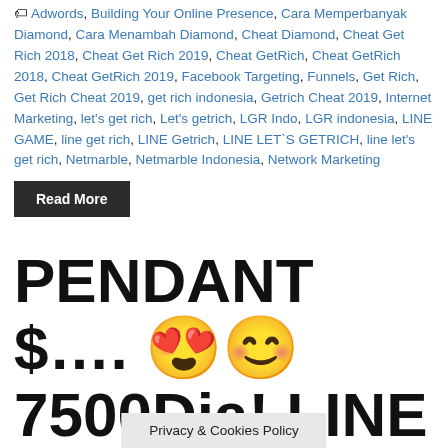Adwords, Building Your Online Presence, Cara Memperbanyak Diamond, Cara Menambah Diamond, Cheat Diamond, Cheat Get Rich 2018, Cheat Get Rich 2019, Cheat GetRich, Cheat GetRich 2018, Cheat GetRich 2019, Facebook Targeting, Funnels, Get Rich, Get Rich Cheat 2019, get rich indonesia, Getrich Cheat 2019, Internet Marketing, let's get rich, Let's getrich, LGR Indo, LGR indonesia, LINE GAME, line get rich, LINE Getrich, LINE LET`S GETRICH, line let's get rich, Netmarble, Netmarble Indonesia, Network Marketing
Read More
PENDANT $…. 😍😊 7500Dia! LINE LET'S GET RICH INDONESIA….💗 LIVE STREAMING KE
Privacy & Cookies Policy